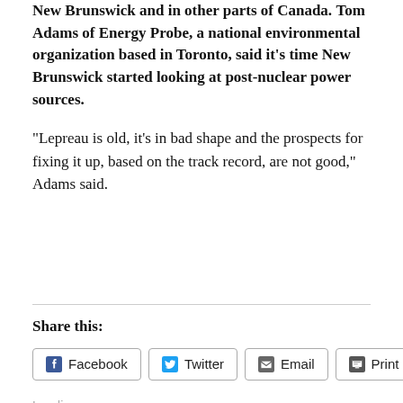New Brunswick and in other parts of Canada. Tom Adams of Energy Probe, a national environmental organization based in Toronto, said it’s time New Brunswick started looking at post-nuclear power sources.
“Lepreau is old, it’s in bad shape and the prospects for fixing it up, based on the track record, are not good,” Adams said.
Share this:
Facebook  Twitter  Email  Print
Loading…